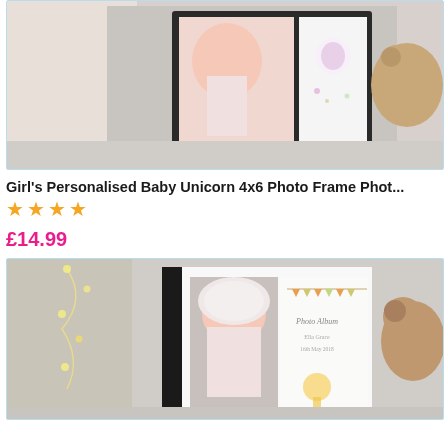[Figure (photo): Girl's Personalised Baby Unicorn 4x6 Photo Frame product photo showing a silver photo frame with unicorn design and a baby photo, displayed with a teddy bear in the background]
Girl's Personalised Baby Unicorn 4x6 Photo Frame Phot...
[Figure (other): Four yellow star rating icons]
£14.99
[Figure (photo): Baby photo album product photo showing a personalised photo album with a baby in a hooded towel on the cover, giraffe design, and bunting decoration, displayed with fairy lights and a teddy bear]